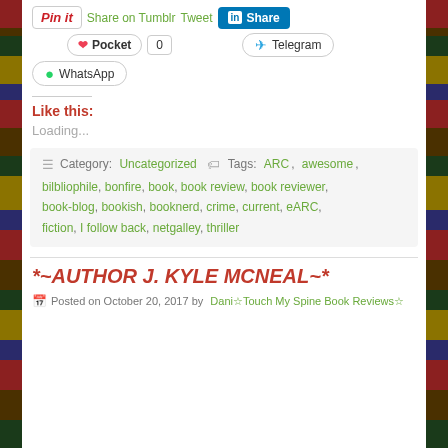[Figure (screenshot): Social share buttons: Pin it, Share on Tumblr, Tweet, LinkedIn Share, Pocket (0), Telegram, WhatsApp]
Like this:
Loading...
Category: Uncategorized   Tags: ARC, awesome, bilbliophile, bonfire, book, book review, book reviewer, book-blog, bookish, booknerd, crime, current, eARC, fiction, I follow back, netgalley, thriller
*~AUTHOR J. KYLE MCNEAL~*
Posted on October 20, 2017 by Dani☆Touch My Spine Book Reviews☆